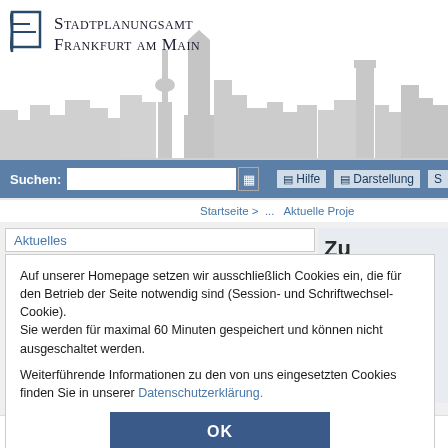[Figure (logo): Stadtplanungsamt Frankfurt am Main logo with city silhouette skyline in grey]
Stadtplanungsamt Frankfurt am Main
Suchen:
Hilfe  Darstellung  S
Startseite > ... Aktuelle Proje
Aktuelles
Zu
Auf unserer Homepage setzen wir ausschließlich Cookies ein, die für den Betrieb der Seite notwendig sind (Session- und Schriftwechsel-Cookie).
Sie werden für maximal 60 Minuten gespeichert und können nicht ausgeschaltet werden.

Weiterführende Informationen zu den von uns eingesetzten Cookies finden Sie in unserer Datenschutzerklärung.
OK
Fechenheim - Lebendige Zentren
Kontakt: